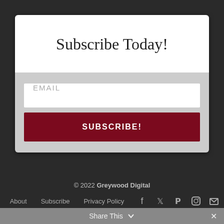Subscribe Today!
EMAIL
SUBSCRIBE!
© 2022 Greywood Digital
About  Subscribe  Privacy Policy
Share This ∨  ×